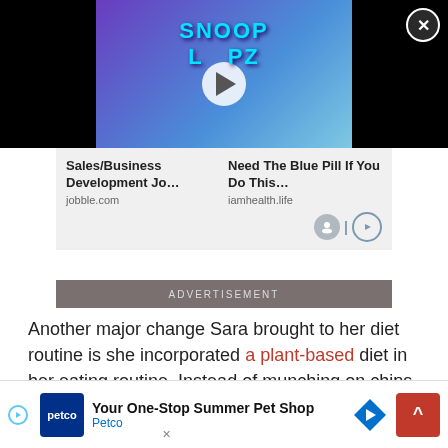[Figure (screenshot): Video player showing Snoop Loopz cereal box advertisement with play button overlay, on black background]
[Figure (screenshot): Advertisement panel with two ad items: 'Sales/Business Development Jo...' from jobble.com and 'Need The Blue Pill If You Do This...' from iamhealth.life, with ad network icons]
ADVERTISEMENT
Another major change Sara brought to her diet routine is she incorporated a plant-based diet in her eating routine. Instead of munching on chips and she instead focused on eating hea so she
[Figure (screenshot): Bottom advertisement banner for Petco: 'Your One-Stop Summer Pet Shop' with Petco branding, navigation diamond icon, and scroll-to-top button]